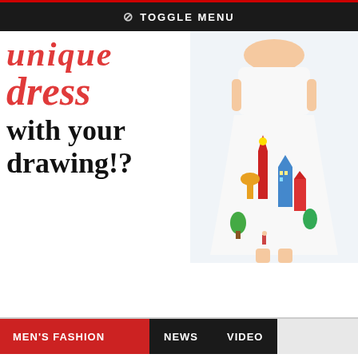⊘ TOGGLE MENU
[Figure (illustration): Fashion promotional banner showing text 'unique dress with your drawing!?' in red italic and black bold fonts on the left, and a woman wearing a colorful printed dress with a cityscape/cathedral illustration on the right]
MEN'S FASHION   NEWS   VIDEO
[Figure (photo): Thumbnail of a man in a blue suit]
Fashion Business: How To Write A Fashion Business Plan
18 July, 2022